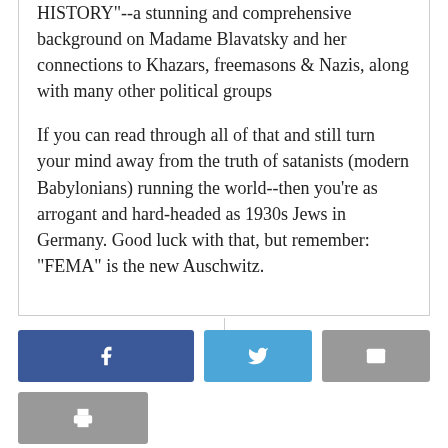HISTORY"--a stunning and comprehensive background on Madame Blavatsky and her connections to Khazars, freemasons & Nazis, along with many other political groups

If you can read through all of that and still turn your mind away from the truth of satanists (modern Babylonians) running the world--then you're as arrogant and hard-headed as 1930s Jews in Germany. Good luck with that, but remember: "FEMA" is the new Auschwitz.
[Figure (other): Social share buttons: Facebook (blue), Twitter (blue), Email (grey), Print (grey)]